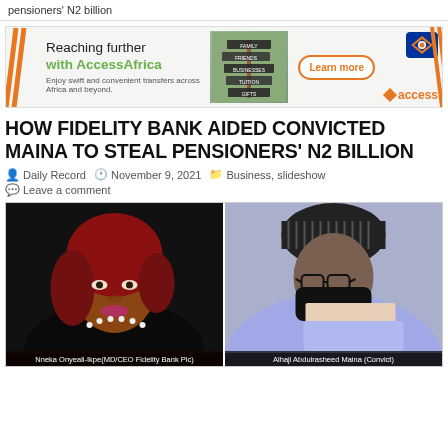pensioners' N2 billion
[Figure (illustration): AccessAfrica bank advertisement banner. Text reads: 'Reaching further with AccessAfrica. Enjoy swift and convenient transfers across Africa and beyond.' with a signpost image showing words FAMILY, FRIENDS, BUSINESSES, TUITION, GIFTS, and a 'Learn more' button. Access bank logo on right.]
HOW FIDELITY BANK AIDED CONVICTED MAINA TO STEAL PENSIONERS' N2 BILLION
Daily Record   November 9, 2021   Business, slideshow
Leave a comment
[Figure (photo): Two side-by-side photos. Left: Nneka Onyeali-Ikpe, MD/CEO Fidelity Bank Plc. Right: Alhaji Abdulrasheed Maina (Convict).]
Nneka Onyeali-Ikpe(MD/CEO Fidelity Bank Plc)   Alhaji Abdulrasheed Maina (Convict)